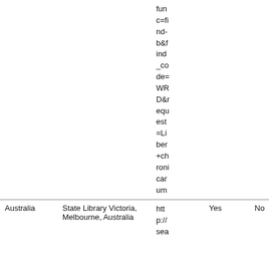|  |  | URL/Link |  |  |
| --- | --- | --- | --- | --- |
|  |  | func=find-b&find_code=WRD&request=Liber+chroni
carum |  |  |
| Australia | State Library Victoria, Melbourne, Australia | http://sea... | Yes | No |